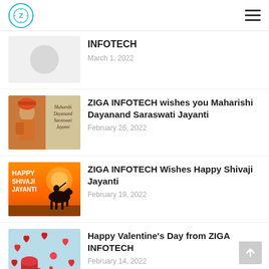ZIGA INFOTECH — navigation header with logo and hamburger menu
INFOTECH
March 1, 2022
ZIGA INFOTECH wishes you Maharishi Dayanand Saraswati Jayanti
February 26, 2022
ZIGA INFOTECH Wishes Happy Shivaji Jayanti
February 19, 2022
Happy Valentine's Day from ZIGA INFOTECH
February 14, 2022